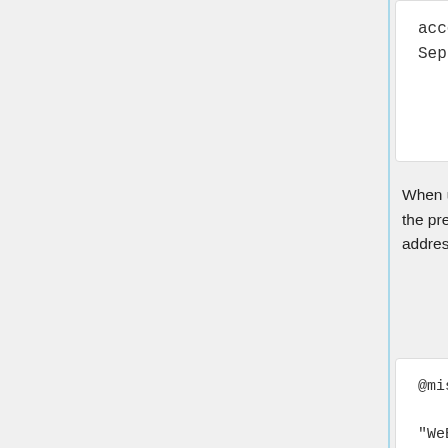accessed 5-September-2022]"
  }
When using the LaTeX package url ( \usepackage{url} somewhere in the preamble) which tends to give much more nicely formatted web addresses, the following may be preferred:
@misc{ wiki:xxx,
    author =
"WeBWorK_wiki",
    title =
"Installing from WW2.4 Ubuntu8.04 LiveDVD ---
WeBWorK_wiki{,} ",
    year = "2009",
    url =